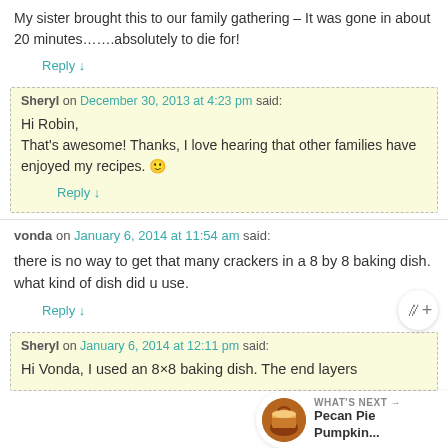My sister brought this to our family gathering – It was gone in about 20 minutes…….absolutely to die for!
Reply ↓
Sheryl on December 30, 2013 at 4:23 pm said:
Hi Robin,
That's awesome! Thanks, I love hearing that other families have enjoyed my recipes. 🙂
Reply ↓
vonda on January 6, 2014 at 11:54 am said:
there is no way to get that many crackers in a 8 by 8 baking dish. what kind of dish did u use.
Reply ↓
Sheryl on January 6, 2014 at 12:11 pm said:
Hi Vonda, I used an 8×8 baking dish. The end layers
WHAT'S NEXT → Pecan Pie Pumpkin...